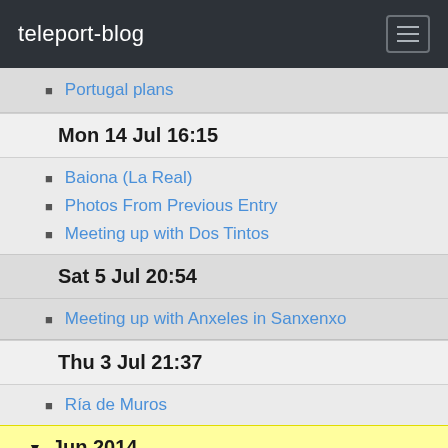teleport-blog
Portugal plans
Mon 14 Jul 16:15
Baiona (La Real)
Photos From Previous Entry
Meeting up with Dos Tintos
Sat 5 Jul 20:54
Meeting up with Anxeles in Sanxenxo
Thu 3 Jul 21:37
Ría de Muros
Jun 2014
Sat 28 Jun 10:37
The End of the Earth
Fri 27 Jun 10:24
The Death Coast
Wed 25 Jun 17:38